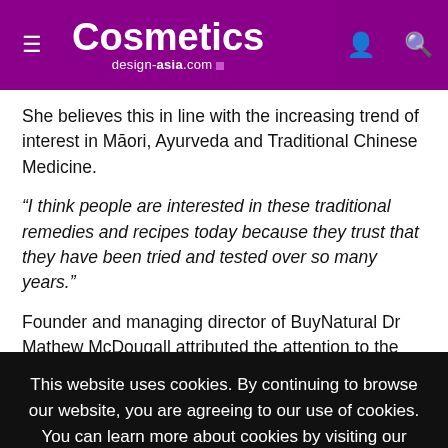Cosmetics design-asia.com
She believes this in line with the increasing trend of interest in Māori, Ayurveda and Traditional Chinese Medicine.
“I think people are interested in these traditional remedies and recipes today because they trust that they have been tried and tested over so many years.”
Founder and managing director of BuyNatural Dr Mathew McDougall attributed the attention to the rising tide of
This website uses cookies. By continuing to browse our website, you are agreeing to our use of cookies. You can learn more about cookies by visiting our privacy & cookies policy page.
I Agree